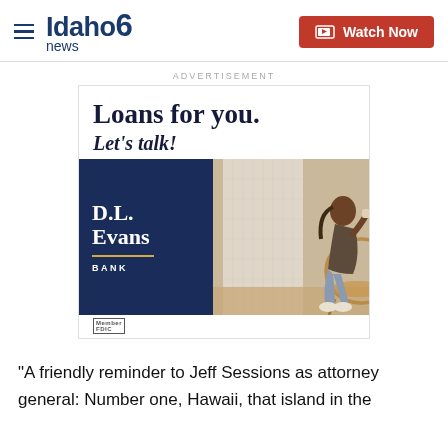Idaho News 6 — Watch Now
ADVERTISEMENT
[Figure (infographic): D.L. Evans Bank advertisement: 'Loans for you. Let's talk!' with a woman sitting in a chair and the D.L. Evans Bank logo with Member FDIC text.]
"A friendly reminder to Jeff Sessions as attorney general: Number one, Hawaii, that island in the